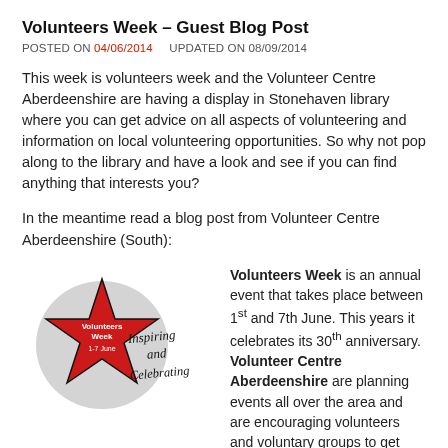Volunteers Week – Guest Blog Post
POSTED ON 04/06/2014    UPDATED ON 08/09/2014
This week is volunteers week and the Volunteer Centre Aberdeenshire are having a display in Stonehaven library where you can get advice on all aspects of volunteering and information on local volunteering opportunities. So why not pop along to the library and have a look and see if you can find anything that interests you?
In the meantime read a blog post from Volunteer Centre Aberdeenshire (South):
[Figure (logo): Volunteers Week logo: a red star shape with 'Volunteers Week 1-7 June' text, on a grey circle background, with handwritten-style text 'Inspiring and Celebrating']
Volunteers Week is an annual event that takes place between 1st and 7th June. This years it celebrates its 30th anniversary. Volunteer Centre Aberdeenshire are planning events all over the area and are encouraging volunteers and voluntary groups to get involved. Make this year special and